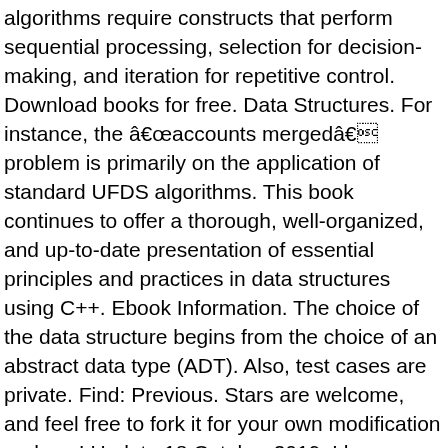algorithms require constructs that perform sequential processing, selection for decision-making, and iteration for repetitive control. Download books for free. Data Structures. For instance, the â€œaccounts mergedâ€ problem is primarily on the application of standard UFDS algorithms. This book continues to offer a thorough, well-organized, and up-to-date presentation of essential principles and practices in data structures using C++. Ebook Information. The choice of the data structure begins from the choice of an abstract data type (ADT). Also, test cases are private. Find: Previous. Stars are welcome, and feel free to fork it for your own modification and use! Update 18 October 2019: I have created a curation of Leetcode problems which I personally use to prepare for technical interviews. :). Itâ€™s my least favorite site among the three for practicing and learning, and I didnâ€™t spend a lot of time on it. that's being discussed in "Problem Solving with Algorithms and Data Structures". INTRODUCTION TO DATA STRUCTURES, SEARCHING AND SORTING Basic Concepts: Introduction to